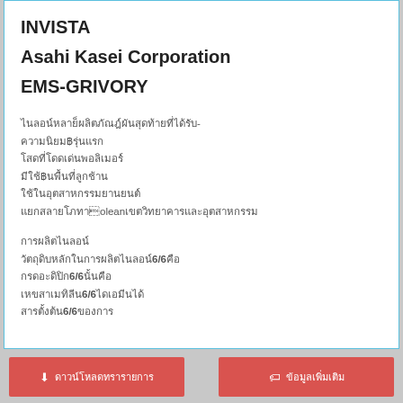INVISTA
Asahi Kasei Corporation
EMS-GRIVORY
ไนลอน-6/6 (Nylon-6/6) หรือพอลิเฮกซาเมทิลีนอะดิพาไมด์
เป็นพอลิเมอร์กึ่งผลึก
มีจุดหลอมเหลวสูง
มีความแข็งแรงสูง
ทนความร้อนได้ดี
นิยมใช้ในอุตสาหกรรมยานยนต์และอิเล็กทรอนิกส์
การผลิตไนลอน
วัตถุดิบหลักในการผลิตไนลอน6/6คือ
กรดอะดิปิก6/6นั้นคือ
เฮกซาเมทิลีน6/6ไดเอมีน
สารตั้งต้น6/6ของการผลิต